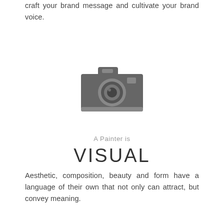craft your brand message and cultivate your brand voice.
[Figure (illustration): Camera icon in dark gray]
A Painter is
VISUAL
Aesthetic, composition, beauty and form have a language of their own that not only can attract, but convey meaning.
[Figure (illustration): Two gear/cog icons in dark gray]
A Programmer is